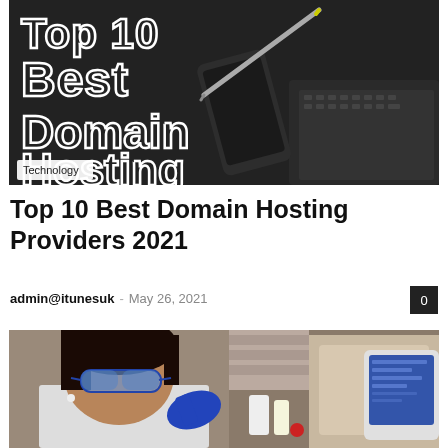[Figure (photo): Dark background image showing a smartphone, pen, and laptop keyboard with large text overlay reading 'Top 10 Best Domain Hosting' in white outlined letters, with a 'Technology' badge in the lower left]
Top 10 Best Domain Hosting Providers 2021
admin@itunesuk - May 26, 2021
[Figure (photo): A woman in a lab coat and blue safety goggles working with laboratory equipment and a screen/monitor in a laboratory setting]